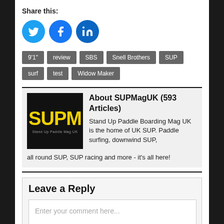Share this:
[Figure (illustration): Three social media icon circles: Twitter (blue bird), Facebook (blue f), LinkedIn (blue in)]
9'1"
review
SBS
Snell Brothers
SUP
surf
test
Widow Maker
About SUPMagUK (593 Articles)
Stand Up Paddle Boarding Mag UK is the home of UK SUP. Paddle surfing, downwind SUP, all round SUP, SUP racing and more - it's all here!
Leave a Reply
Enter your comment here...